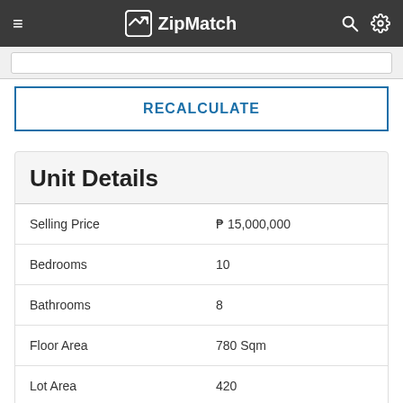ZipMatch
RECALCULATE
Unit Details
|  |  |
| --- | --- |
| Selling Price | ₱ 15,000,000 |
| Bedrooms | 10 |
| Bathrooms | 8 |
| Floor Area | 780 Sqm |
| Lot Area | 420 |
| Project | Dona Juliana |